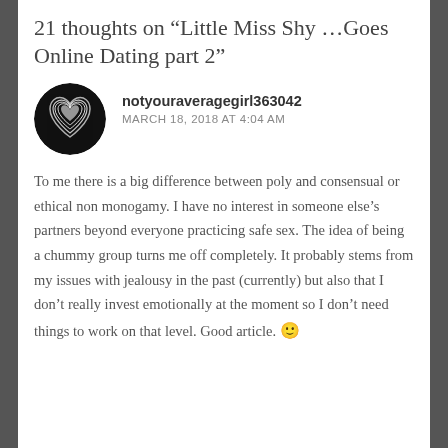21 thoughts on “Little Miss Shy …Goes Online Dating part 2”
[Figure (photo): Circular avatar image with a black background showing a white heart shape made of flowing lines]
notyouraveragegirl363042
MARCH 18, 2018 AT 4:04 AM
To me there is a big difference between poly and consensual or ethical non monogamy. I have no interest in someone else’s partners beyond everyone practicing safe sex. The idea of being a chummy group turns me off completely. It probably stems from my issues with jealousy in the past (currently) but also that I don’t really invest emotionally at the moment so I don’t need things to work on that level. Good article. 🙂